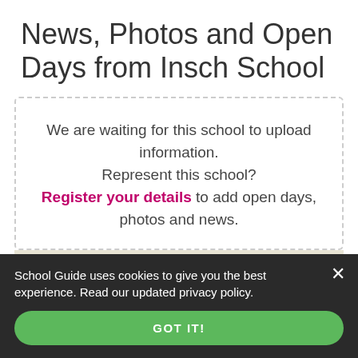News, Photos and Open Days from Insch School
We are waiting for this school to upload information. Represent this school? Register your details to add open days, photos and news.
[Figure (photo): Two polaroid-style photos pinned to a beige board: left shows a church/building with blue sky; right shows children in school uniforms.]
School Guide uses cookies to give you the best experience. Read our updated privacy policy.
GOT IT!